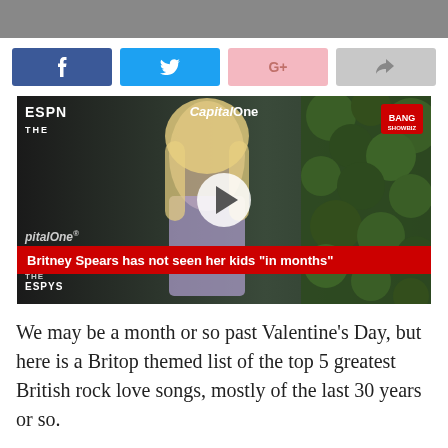[Figure (photo): Top cropped photo strip, dark/grey background]
[Figure (other): Social sharing buttons: Facebook (blue), Twitter (light blue), Google+ (pink), Share (grey)]
[Figure (photo): Video thumbnail showing Britney Spears at what appears to be the ESPYs red carpet event with Capital One branding. A play button is overlaid in the center. A red caption bar reads: Britney Spears has not seen her kids "in months". Bang Showbiz logo in top right corner.]
We may be a month or so past Valentine’s Day, but here is a Britop themed list of the top 5 greatest British rock love songs, mostly of the last 30 years or so.